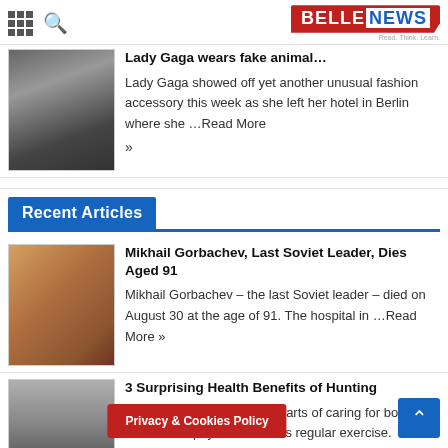BELLENEWS — Read. Think. Learn.
Lady Gaga wears fake animal…
Lady Gaga showed off yet another unusual fashion accessory this week as she left her hotel in Berlin where she …Read More »
Recent Articles
Mikhail Gorbachev, Last Soviet Leader, Dies Aged 91
Mikhail Gorbachev – the last Soviet leader – died on August 30 at the age of 91. The hospital in …Read More »
3 Surprising Health Benefits of Hunting
One of the most important parts of caring for both your mental and physical health is regular exercise. Exercising not …Read More »
Privacy & Cookies Policy